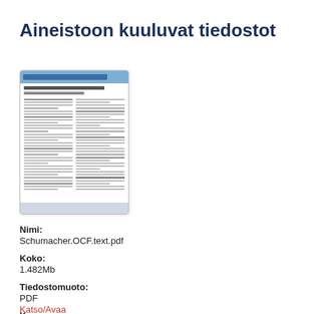Aineistoon kuuluvat tiedostot
[Figure (screenshot): Thumbnail preview of a PDF document page showing a multi-column academic paper with a blue header bar.]
Nimi:
Schumacher.OCF.text.pdf
Koko:
1.482Mb
Tiedostomuoto:
PDF
Kuvaus:
Final Draft
Katso/Avaa